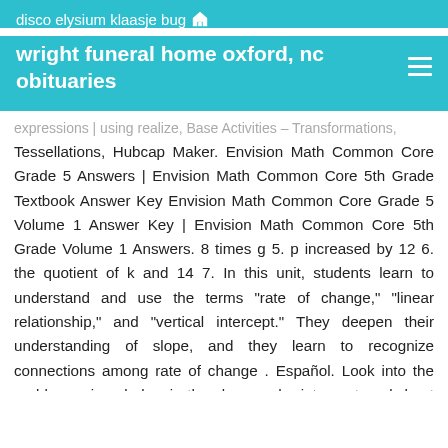disco elysium klaasje bug
wright funeral home oxford, nc obituaries
expressions | using realize, Base Activities – Transformations, Tessellations, Hubcap Maker. Envision Math Common Core Grade 5 Answers | Envision Math Common Core 5th Grade Textbook Answer Key Envision Math Common Core Grade 5 Volume 1 Answer Key | Envision Math Common Core 5th Grade Volume 1 Answers. 8 times g 5. p increased by 12 6. the quotient of k and 14 7. In this unit, students learn to understand and use the terms "rate of change," "linear relationship," and "vertical intercept." They deepen their understanding of slope, and they learn to recognize connections among rate of change . Español. Look into the problems given below in the slope and y intercept worksheet with answers and enhance your math skills. Welcome Common Core Printables Answer Key Section for 5th Grade Math: 1 12Use Addition and Subtraction. Match the final